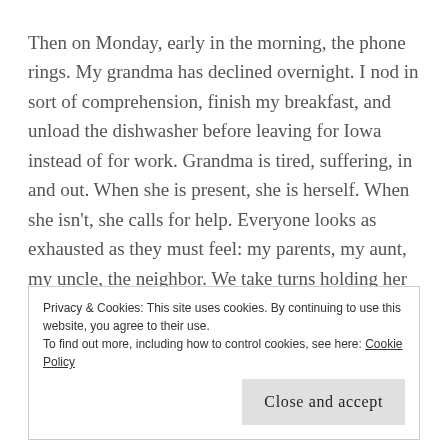Then on Monday, early in the morning, the phone rings. My grandma has declined overnight. I nod in sort of comprehension, finish my breakfast, and unload the dishwasher before leaving for Iowa instead of for work. Grandma is tired, suffering, in and out. When she is present, she is herself. When she isn't, she calls for help. Everyone looks as exhausted as they must feel: my parents, my aunt, my uncle, the neighbor. We take turns holding her hand, talking to her, listening to the care team, and going
Privacy & Cookies: This site uses cookies. By continuing to use this website, you agree to their use.
To find out more, including how to control cookies, see here: Cookie Policy
Close and accept